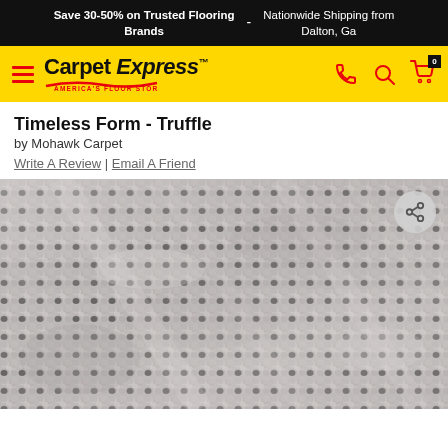Save 30-50% on Trusted Flooring Brands  -  Nationwide Shipping from Dalton, Ga
[Figure (logo): Carpet Express - America's Floor Store logo on yellow navigation bar with hamburger menu, phone, search, and cart icons]
Timeless Form - Truffle
by Mohawk Carpet
Write A Review | Email A Friend
[Figure (photo): Close-up photo of a grey/silver textured carpet called Timeless Form - Truffle by Mohawk Carpet, showing looped pile texture with silvery highlights]